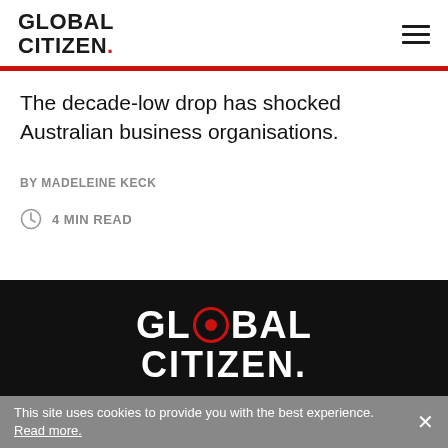GLOBAL CITIZEN.
The decade-low drop has shocked Australian business organisations.
BY MADELEINE KECK
4 MIN READ
[Figure (logo): Global Citizen logo in white on black background with red circle replacing the O in GLOBAL]
This site uses cookies to provide you with the best experience. Read more.